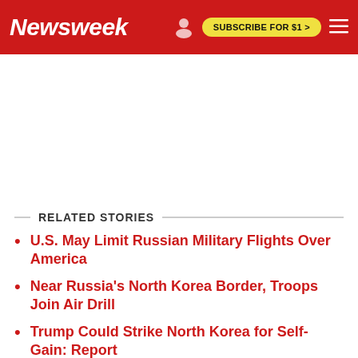Newsweek | SUBSCRIBE FOR $1 >
RELATED STORIES
U.S. May Limit Russian Military Flights Over America
Near Russia's North Korea Border, Troops Join Air Drill
Trump Could Strike North Korea for Self-Gain: Report